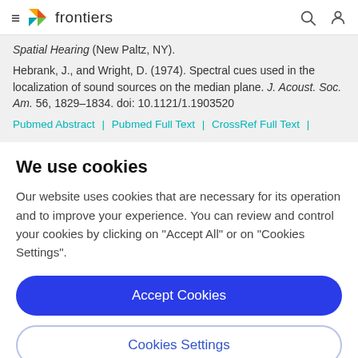frontiers
Spatial Hearing (New Paltz, NY).
Hebrank, J., and Wright, D. (1974). Spectral cues used in the localization of sound sources on the median plane. J. Acoust. Soc. Am. 56, 1829–1834. doi: 10.1121/1.1903520
Pubmed Abstract | Pubmed Full Text | CrossRef Full Text |
We use cookies
Our website uses cookies that are necessary for its operation and to improve your experience. You can review and control your cookies by clicking on "Accept All" or on "Cookies Settings".
Accept Cookies
Cookies Settings